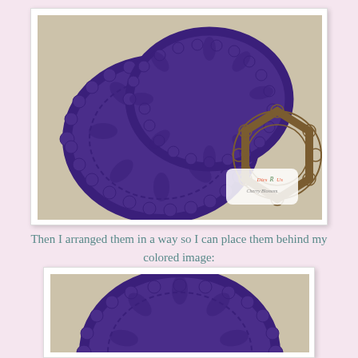[Figure (photo): Photo of purple decorative paper doilies cut with a die cutting machine, arranged in an overlapping group. A 'Dies R Us' watermark/logo is visible in the lower left of the photo. The doilies have intricate lace-like borders. Background is beige/tan. White frame border around the photo.]
Then I arranged them in a way so I can place them behind my colored image:
[Figure (photo): Photo of a single purple decorative paper doily showing the top half with intricate lace-like scalloped border, on a beige/tan background. White frame border around the photo.]